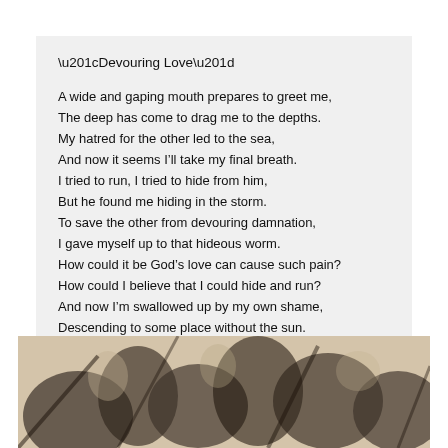“Devouring Love”
A wide and gaping mouth prepares to greet me,
The deep has come to drag me to the depths.
My hatred for the other led to the sea,
And now it seems I’ll take my final breath.
I tried to run, I tried to hide from him,
But he found me hiding in the storm.
To save the other from devouring damnation,
I gave myself up to that hideous worm.
How could it be God’s love can cause such pain?
How could I believe that I could hide and run?
And now I’m swallowed up by my own shame,
Descending to some place without the sun.
I throw myself into his hungry jaws
Wondering if there’s hope within God’s laws.
[Figure (photo): Black and white illustration or engraving visible at the bottom of the page, partially cut off, showing figures with foliage or nature elements.]